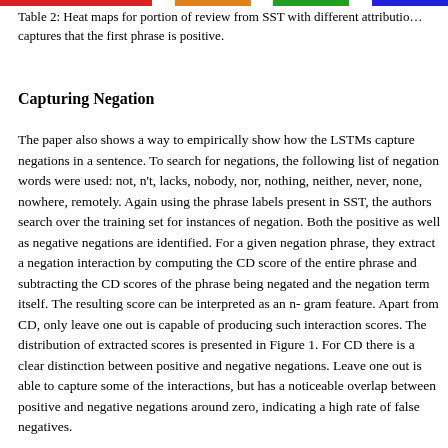Table 2: Heat maps for portion of review from SST with different attribution methods. Each captures that the first phrase is positive.
Capturing Negation
The paper also shows a way to empirically show how the LSTMs capture negations in a sentence. To search for negations, the following list of negation words were used: not, n't, lacks, nobody, nor, nothing, neither, never, none, nowhere, remotely. Again using the phrase labels present in SST, the authors search over the training set for instances of negation. Both the positive as well as negative negations are identified. For a given negation phrase, they extract a negation interaction by computing the CD score of the entire phrase and subtracting the CD scores of the phrase being negated and the negation term itself. The resulting score can be interpreted as an n-gram feature. Apart from CD, only leave one out is capable of producing such interaction scores. The distribution of extracted scores is presented in Figure 1. For CD there is a clear distinction between positive and negative negations. Leave one out is able to capture some of the interactions, but has a noticeable overlap between positive and negative negations around zero, indicating a high rate of false negatives.